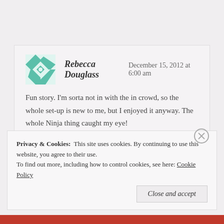Rebecca Douglass   December 15, 2012 at 6:00 am
Fun story. I'm sorta not in with the in crowd, so the whole set-up is new to me, but I enjoyed it anyway. The whole Ninja thing caught my eye!
Reply
Privacy & Cookies:  This site uses cookies. By continuing to use this website, you agree to their use.
To find out more, including how to control cookies, see here: Cookie Policy
Close and accept